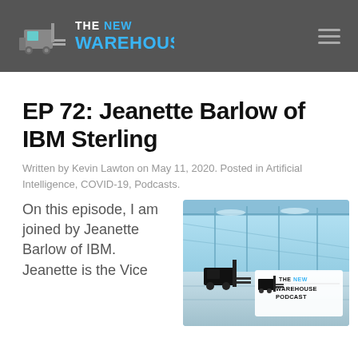The New Warehouse
EP 72: Jeanette Barlow of IBM Sterling
Written by Kevin Lawton on May 11, 2020. Posted in Artificial Intelligence, COVID-19, Podcasts.
On this episode, I am joined by Jeanette Barlow of IBM. Jeanette is the Vice
[Figure (photo): The New Warehouse Podcast logo image showing a warehouse interior with forklift graphic and text 'THE NEW WAREHOUSE PODCAST']